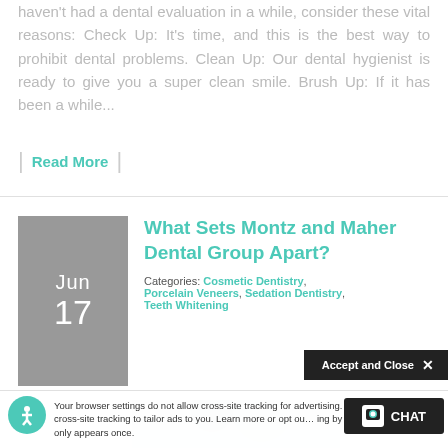haven't had a dental evaluation in a while, consider these vital reasons: Check Up: It's time, and this is the best way to prohibit dental problems. Clean Up: Our dental hygienist is ready to give you a super clean smile. Brush Up: If it has been a while...
| Read More |
What Sets Montz and Maher Dental Group Apart?
Categories: Cosmetic Dentistry, Porcelain Veneers, Sedation Dentistry, Teeth Whitening
[Figure (photo): Photo of dental professionals]
Your browser settings do not allow cross-site tracking for advertising. Click here to allow. Allow cross-site tracking to tailor ads to you. Learn more or opt out by clicking here. This message only appears once.
Accept and Close ×
CHAT